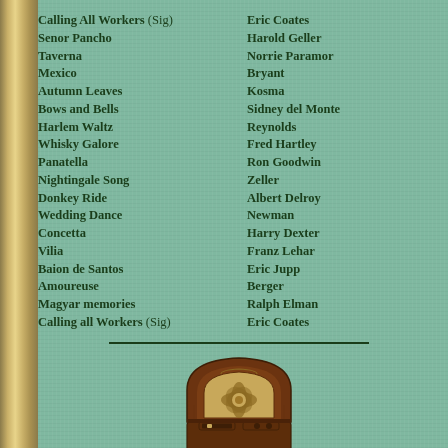Calling All Workers (Sig) — Eric Coates
Senor Pancho — Harold Geller
Taverna — Norrie Paramor
Mexico — Bryant
Autumn Leaves — Kosma
Bows and Bells — Sidney del Monte
Harlem Waltz — Reynolds
Whisky Galore — Fred Hartley
Panatella — Ron Goodwin
Nightingale Song — Zeller
Donkey Ride — Albert Delroy
Wedding Dance — Newman
Concetta — Harry Dexter
Vilia — Franz Lehar
Baion de Santos — Eric Jupp
Amoureuse — Berger
Magyar memories — Ralph Elman
Calling all Workers (Sig) — Eric Coates
[Figure (illustration): Vintage arched wooden radio set, dark brown wood with decorative grille]
Listen to 'Music While You Work' played by Ralph Elman and his Ro...